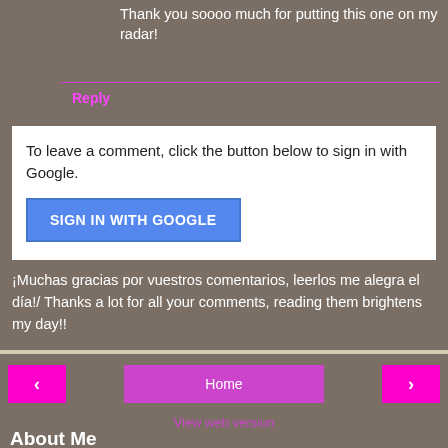Thank you soooo much for putting this one on my radar!
Reply
To leave a comment, click the button below to sign in with Google.
SIGN IN WITH GOOGLE
¡Muchas gracias por vuestros comentarios, leerlos me alegra el día!/ Thanks a lot for all your comments, reading them brightens my day!!
Home
View web version
About Me